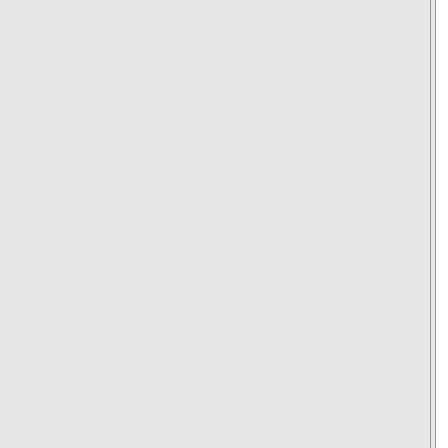previous relationship. So, the question is was this merely a random transition or was is it intentional manipulation of gasoline prices? I suggest that in the case of the 2004 election and perhaps in the 2000 election you have the same type of forces at work (using the same analysis technique. But I also reiterate this point: the degree to which prices can be manipulated and for what period of time is limited by